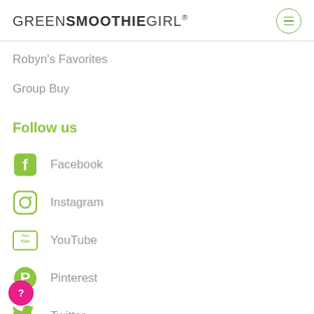GREENSMOOTHIEGIRL®
Robyn's Favorites
Group Buy
Follow us
Facebook
Instagram
YouTube
Pinterest
Twitter